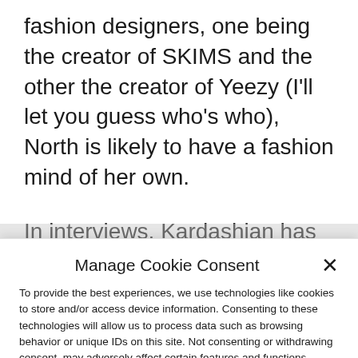fashion designers, one being the creator of SKIMS and the other the creator of Yeezy (I'll let you guess who's who), North is likely to have a fashion mind of her own.
In interviews, Kardashian has talked about her daughter's strong opinions on her fashion.
Manage Cookie Consent
To provide the best experiences, we use technologies like cookies to store and/or access device information. Consenting to these technologies will allow us to process data such as browsing behavior or unique IDs on this site. Not consenting or withdrawing consent, may adversely affect certain features and functions.
Accept
Cookie Policy